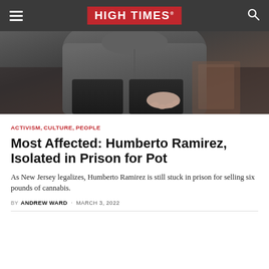HIGH TIMES
[Figure (photo): A person sitting, wearing a dark gray hoodie, shown from the torso down, resting a hand on their knee against a dark background]
ACTIVISM, CULTURE, PEOPLE
Most Affected: Humberto Ramirez, Isolated in Prison for Pot
As New Jersey legalizes, Humberto Ramirez is still stuck in prison for selling six pounds of cannabis.
BY ANDREW WARD · MARCH 3, 2022